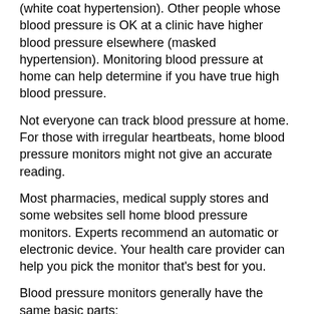(white coat hypertension). Other people whose blood pressure is OK at a clinic have higher blood pressure elsewhere (masked hypertension). Monitoring blood pressure at home can help determine if you have true high blood pressure.
Not everyone can track blood pressure at home. For those with irregular heartbeats, home blood pressure monitors might not give an accurate reading.
Most pharmacies, medical supply stores and some websites sell home blood pressure monitors. Experts recommend an automatic or electronic device. Your health care provider can help you pick the monitor that's best for you.
Blood pressure monitors generally have the same basic parts:
Inflatable cuff. The cuff's inner layer fills with air and squeezes the arm. The cuff's outer layer has a fastener to hold the cuff in place. The device calculates heart rate and blood flow by measuring the